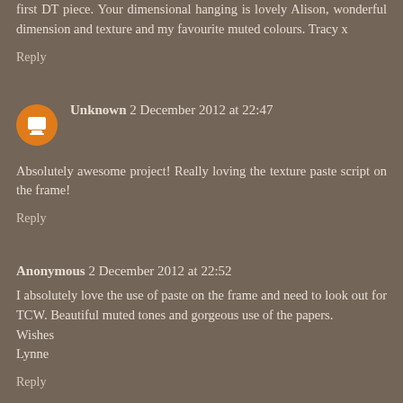first DT piece. Your dimensional hanging is lovely Alison, wonderful dimension and texture and my favourite muted colours. Tracy x
Reply
Unknown 2 December 2012 at 22:47
Absolutely awesome project! Really loving the texture paste script on the frame!
Reply
Anonymous 2 December 2012 at 22:52
I absolutely love the use of paste on the frame and need to look out for TCW. Beautiful muted tones and gorgeous use of the papers.
Wishes
Lynne
Reply